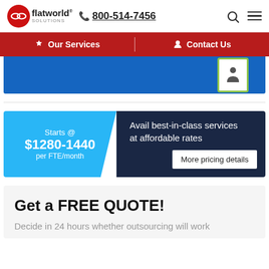flatworld solutions | 800-514-7456
Our Services | Contact Us
[Figure (other): Blue banner with PDF/document icon (green border)]
Starts @ $1280-1440 per FTE/month | Avail best-in-class services at affordable rates | More pricing details
Get a FREE QUOTE!
Decide in 24 hours whether outsourcing will work